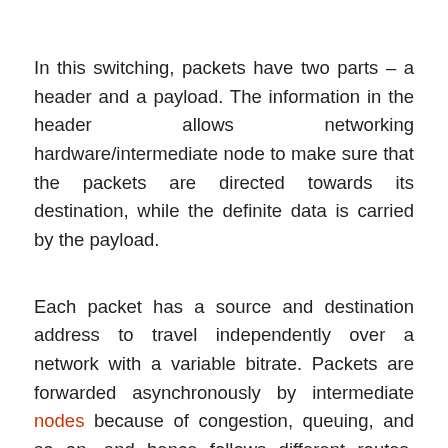In this switching, packets have two parts – a header and a payload. The information in the header allows networking hardware/intermediate node to make sure that the packets are directed towards its destination, while the definite data is carried by the payload.
Each packet has a source and destination address to travel independently over a network with a variable bitrate. Packets are forwarded asynchronously by intermediate nodes because of congestion, queuing, and so on, and hence follows different routes. These packets arrive at the